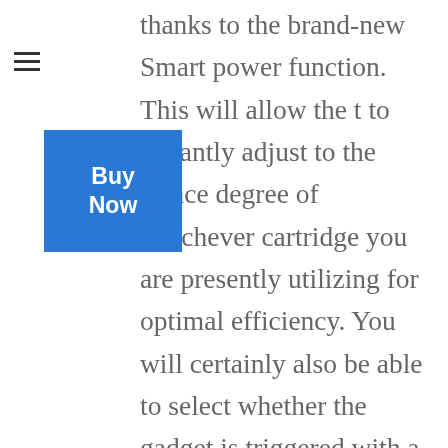thanks to the brand-new Smart power function. This will allow the t to instantly adjust to the stance degree of whichever cartridge you are presently utilizing for optimal efficiency. You will certainly also be able to select whether the gadget is triggered with a switch or through breathing. If you have actually ever melted a coil by inadvertently allowing something to remain on a button for also lengthy after that you will certainly know just how excellent of a function this is.
[Figure (other): Blue 'Buy Now' button overlaid on text]